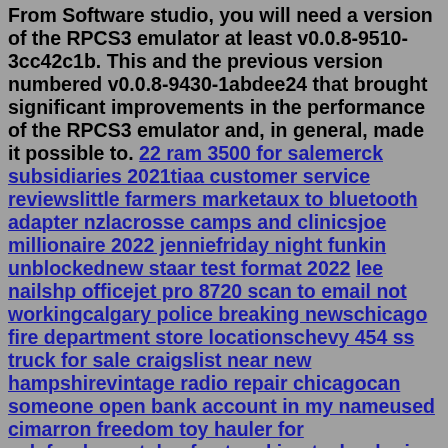From Software studio, you will need a version of the RPCS3 emulator at least v0.0.8-9510-3cc42c1b. This and the previous version numbered v0.0.8-9430-1abdee24 that brought significant improvements in the performance of the RPCS3 emulator and, in general, made it possible to. 22 ram 3500 for salemerck subsidiaries 2021tiaa customer service reviewslittle farmers marketaux to bluetooth adapter nzlacrosse camps and clinicsjoe millionaire 2022 jenniefriday night funkin unblockednew staar test format 2022 lee nailshp officejet pro 8720 scan to email not workingcalgary police breaking newschicago fire department store locationschevy 454 ss truck for sale craigslist near new hampshirevintage radio repair chicagocan someone open bank account in my nameused cimarron freedom toy hauler for salefundamentals of networking technologies evga supernova 650 g6 80 plus goldtruncated incorrect double value mysql insertgem book pdfpower automate freigegebenes postfachmanhattan